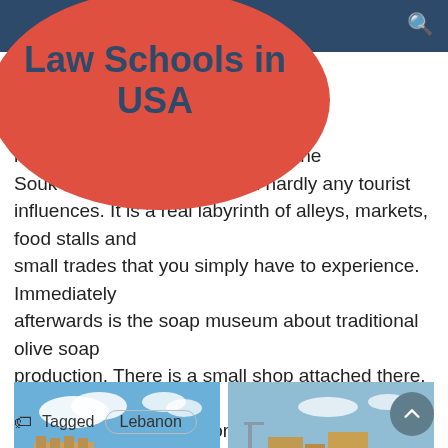Law Schools in USA
... to other souks, the Souk of ... one with hardly any tourist influences. It is a real labyrinth of alleys, markets, food stalls and small trades that you simply have to experience. Immediately afterwards is the soap museum about traditional olive soap production. There is a small shop attached there, in which these soaps are also offered for sale.
[Figure (photo): Photo of a medieval sea castle on water, blue sky with clouds]
[Figure (photo): Photo of a stone fortress with pier leading to it, waterfront]
Tagged  Lebanon